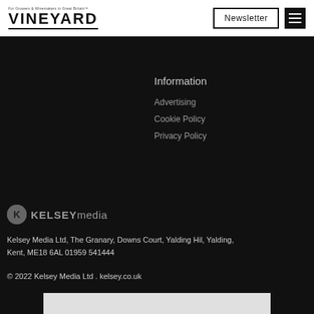[Figure (logo): Vineyard magazine logo with tagline 'For Growers & Winemakers in Great Britain' and bold VINEYARD text with underline]
Newsletter
[Figure (logo): Hamburger menu icon (three horizontal lines on dark background)]
Information
Advertising
Cookie Policy
Privacy Policy
[Figure (logo): Kelsey media logo with grey circle K icon and KELSEY media text]
Kelsey Media Ltd, The Granary, Downs Court, Yalding Hil, Yalding, Kent, ME18 6AL 01959 541444
© 2022 Kelsey Media Ltd . kelsey.co.uk